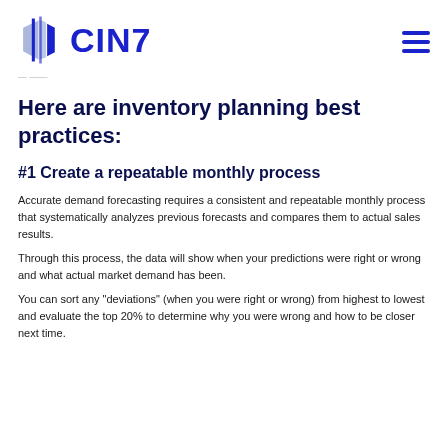CIN7
Here are inventory planning best practices:
#1 Create a repeatable monthly process
Accurate demand forecasting requires a consistent and repeatable monthly process that systematically analyzes previous forecasts and compares them to actual sales results.
Through this process, the data will show when your predictions were right or wrong and what actual market demand has been.
You can sort any “deviations” (when you were right or wrong) from highest to lowest and evaluate the top 20% to determine why you were wrong and how to be closer next time.